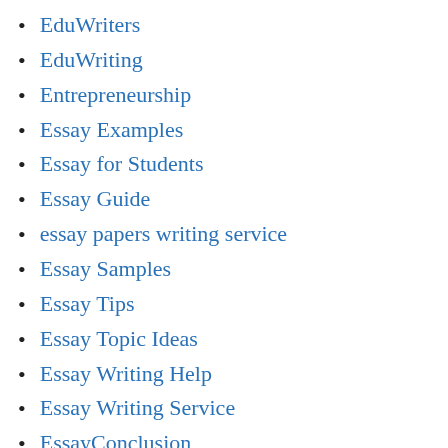EduWriters
EduWriting
Entrepreneurship
Essay Examples
Essay for Students
Essay Guide
essay papers writing service
Essay Samples
Essay Tips
Essay Topic Ideas
Essay Writing Help
Essay Writing Service
EssayConclusion
Essays Ideas
EssayWriting
Financial Management